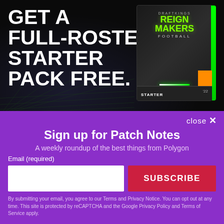[Figure (photo): DraftKings Reign Makers Football advertisement banner. Dark background with grid-line perspective. Bold white text on left reads 'GET A FULL-ROSTER STARTER PACK FREE.' On the right is a 3D product box labeled DraftKings Reign Makers Football Starter Pack '22 with neon green accents.]
close ×
Sign up for Patch Notes
A weekly roundup of the best things from Polygon
Email (required)
SUBSCRIBE
By submitting your email, you agree to our Terms and Privacy Notice. You can opt out at any time. This site is protected by reCAPTCHA and the Google Privacy Policy and Terms of Service apply.